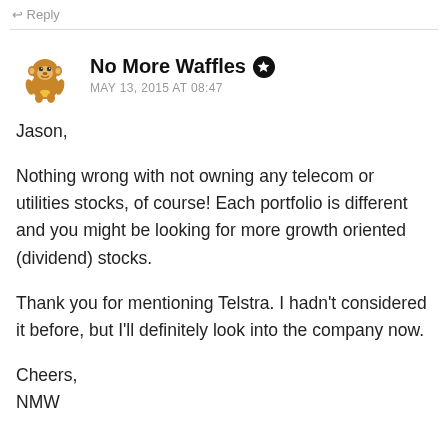Reply
[Figure (illustration): Cartoon monkey avatar icon for user No More Waffles]
No More Waffles ★
MAY 13, 2015 AT 08:47
Jason,

Nothing wrong with not owning any telecom or utilities stocks, of course! Each portfolio is different and you might be looking for more growth oriented (dividend) stocks.

Thank you for mentioning Telstra. I hadn't considered it before, but I'll definitely look into the company now.

Cheers,
NMW